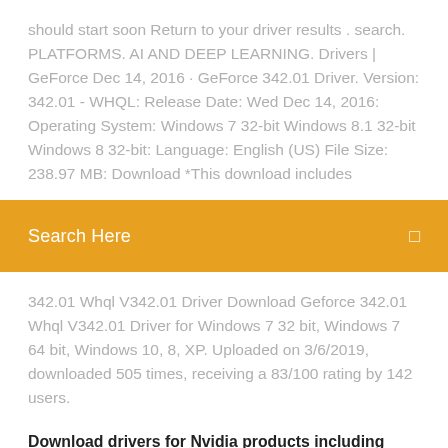should start soon Return to your driver results . search. PLATFORMS. AI AND DEEP LEARNING. Drivers | GeForce Dec 14, 2016 · GeForce 342.01 Driver. Version: 342.01 - WHQL: Release Date: Wed Dec 14, 2016: Operating System: Windows 7 32-bit Windows 8.1 32-bit Windows 8 32-bit: Language: English (US) File Size: 238.97 MB: Download *This download includes
Search Here
342.01 Whql V342.01 Driver Download Geforce 342.01 Whql V342.01 Driver for Windows 7 32 bit, Windows 7 64 bit, Windows 10, 8, XP. Uploaded on 3/6/2019, downloaded 505 times, receiving a 83/100 rating by 142 users.
Download drivers for Nvidia products including GeForce graphics cards, nForce motherboards, Quadro workstations, and more. Update your graphics card drivers today.
14 Dec 2016 NVIDIA GeForce Graphics Driver 342.01 for